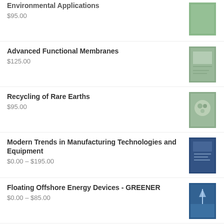Environmental Applications
$95.00
Advanced Functional Membranes
$125.00
Recycling of Rare Earths
$95.00
Modern Trends in Manufacturing Technologies and Equipment
$0.00 – $195.00
Floating Offshore Energy Devices - GREENER
$0.00 – $85.00
Advanced Metallic Biomaterials
$95.00
Ceramics and Composites
$95.00
A Compendium of Deformation-Mechanism